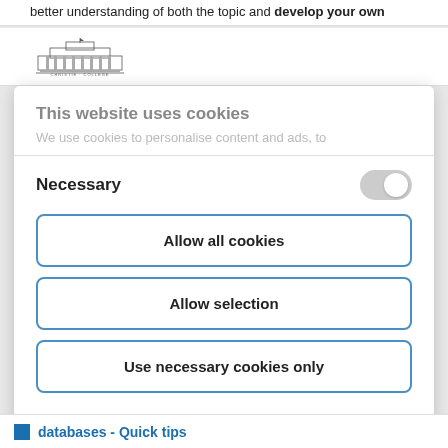better understanding of both the topic and develop your own
[Figure (logo): Christie College logo — building illustration with text 'CHRISTIE COLLEGE']
This website uses cookies
We use cookies to personalise content and ads, to
Necessary
Allow all cookies
Allow selection
Use necessary cookies only
Powered by Cookiebot by Usercentrics
databases - Quick tips